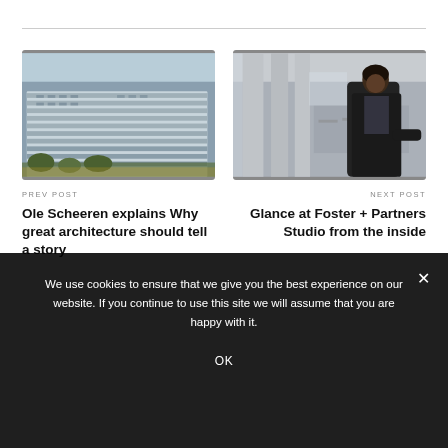[Figure (photo): Aerial/perspective view of a large modern apartment or mixed-use building complex with horizontal banded architecture and trees]
PREV POST
Ole Scheeren explains Why great architecture should tell a story
[Figure (photo): Interior photo of a large modern studio or public space with a person (woman in black jacket) in the foreground and people working in the background near large columns]
NEXT POST
Glance at Foster + Partners Studio from the inside
We use cookies to ensure that we give you the best experience on our website. If you continue to use this site we will assume that you are happy with it.
OK